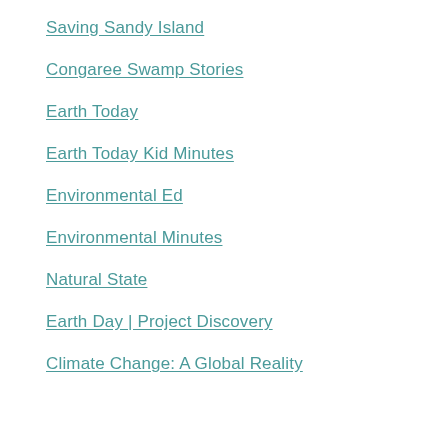Saving Sandy Island
Congaree Swamp Stories
Earth Today
Earth Today Kid Minutes
Environmental Ed
Environmental Minutes
Natural State
Earth Day | Project Discovery
Climate Change: A Global Reality